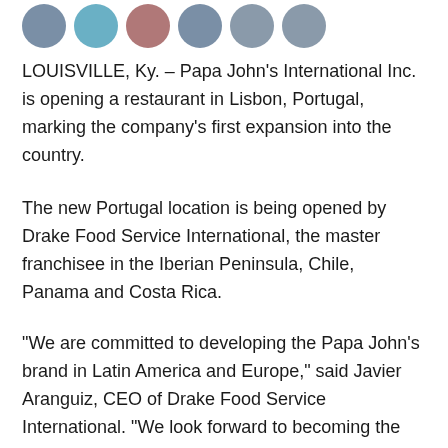[Figure (other): Row of six circular social media sharing icon buttons: Facebook (blue-grey), Twitter (teal-blue), Pinterest (muted red), LinkedIn (blue-grey), Email (grey), Print (grey)]
LOUISVILLE, Ky. – Papa John's International Inc. is opening a restaurant in Lisbon, Portugal, marking the company's first expansion into the country.
The new Portugal location is being opened by Drake Food Service International, the master franchisee in the Iberian Peninsula, Chile, Panama and Costa Rica.
“We are committed to developing the Papa John’s brand in Latin America and Europe,” said Javier Aranguiz, CEO of Drake Food Service International. “We look forward to becoming the most beloved pizza brand, one neighborhood at the time.”